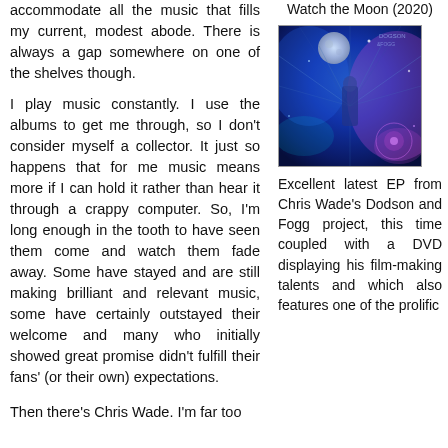accommodate all the music that fills my current, modest abode. There is always a gap somewhere on one of the shelves though.
I play music constantly. I use the albums to get me through, so I don't consider myself a collector. It just so happens that for me music means more if I can hold it rather than hear it through a crappy computer. So, I'm long enough in the tooth to have seen them come and watch them fade away. Some have stayed and are still making brilliant and relevant music, some have certainly outstayed their welcome and many who initially showed great promise didn't fulfill their fans' (or their own) expectations.

Then there's Chris Wade. I'm far too
Watch the Moon (2020)
[Figure (photo): Album art for Watch the Moon (2020) by Dodson and Fogg — a vivid blue/purple sci-fi fantasy illustration showing a corridor with figures and a large moon in the background]
Excellent latest EP from Chris Wade's Dodson and Fogg project, this time coupled with a DVD displaying his film-making talents and which also features one of the prolific